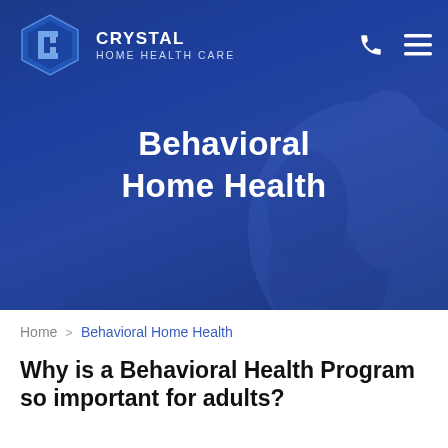[Figure (screenshot): Crystal Home Health Care website hero banner with blue overlay showing a person's hand/face silhouette, logo with hexagon icon in top left, phone and hamburger menu icons top right, and centered title 'Behavioral Home Health']
Behavioral Home Health
Home > Behavioral Home Health
Why is a Behavioral Health Program so important for adults?